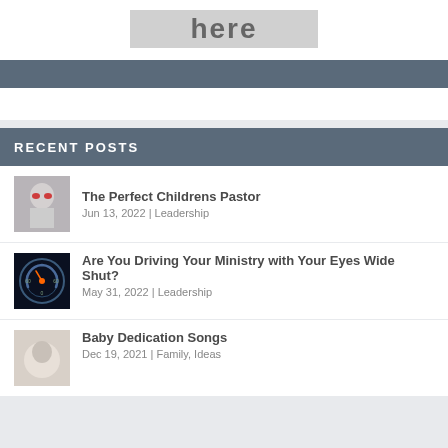[Figure (illustration): Placeholder image with text 'here' in bold letters on gray background]
[Figure (other): Dark blue/gray widget header bar (empty)]
RECENT POSTS
[Figure (photo): Thumbnail of a figure wearing red sunglasses (The Perfect Childrens Pastor)]
The Perfect Childrens Pastor
Jun 13, 2022 | Leadership
[Figure (photo): Thumbnail of a car speedometer/dashboard (Are You Driving Your Ministry with Your Eyes Wide Shut?)]
Are You Driving Your Ministry with Your Eyes Wide Shut?
May 31, 2022 | Leadership
[Figure (photo): Thumbnail of a baby/soft image (Baby Dedication Songs)]
Baby Dedication Songs
Dec 19, 2021 | Family, Ideas